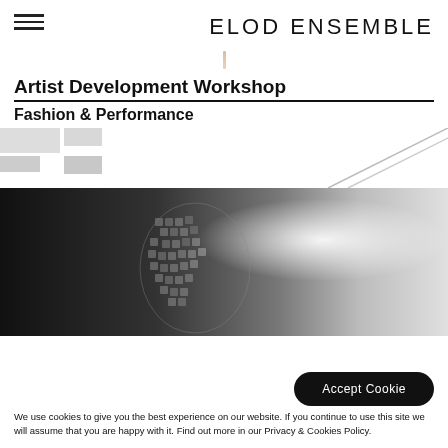ELOD ENSEMBLE
Artist Development Workshop
Fashion & Performance
[Figure (photo): Black and white photograph of a hand or fabric structure with bright light in background, used as hero image for Fashion & Performance workshop page]
Accept Cookie
We use cookies to give you the best experience on our website. If you continue to use this site we will assume that you are happy with it. Find out more in our Privacy & Cookies Policy.